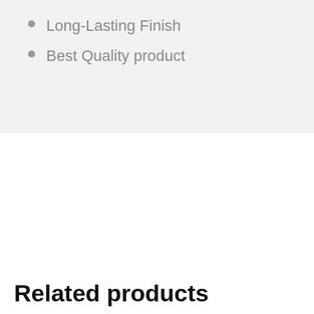Long-Lasting Finish
Best Quality product
Related products